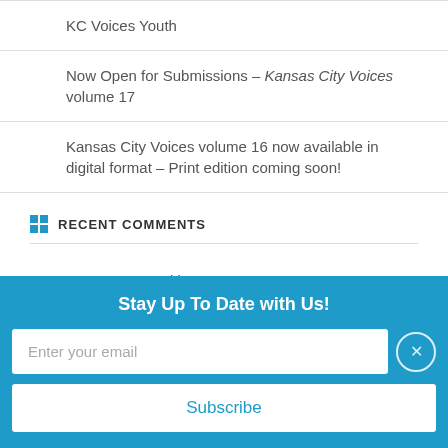KC Voices Youth
Now Open for Submissions – Kansas City Voices volume 17
Kansas City Voices volume 16 now available in digital format – Print edition coming soon!
RECENT COMMENTS
Roxanne on Writing Groups: Yea or Nay?
Barbara Roberts on Open for submissions!
Angela A Carrozza on Open for submissions!
Stay Up To Date with Us!
Enter your email
Subscribe